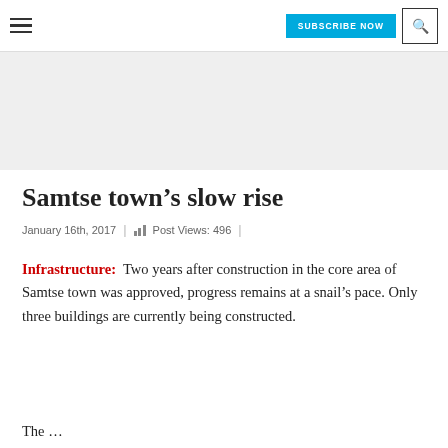SUBSCRIBE NOW | [search icon]
[Figure (other): Gray banner/advertisement placeholder area]
Samtse town’s slow rise
January 16th, 2017  |  Post Views: 496  |
Infrastructure:  Two years after construction in the core area of Samtse town was approved, progress remains at a snail’s pace. Only three buildings are currently being constructed.
The...